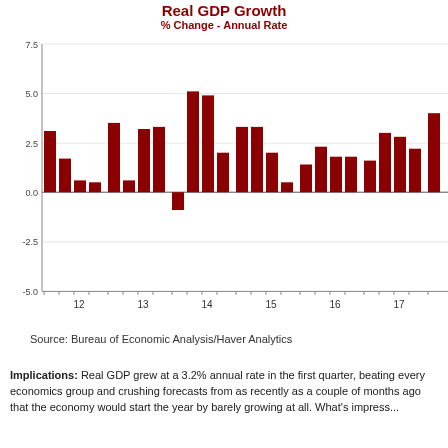Real GDP Growth
% Change - Annual Rate
[Figure (bar-chart): Real GDP Growth]
Source:  Bureau of Economic Analysis/Haver Analytics
Implications:  Real GDP grew at a 3.2% annual rate in the first quarter, beating every economics group and crushing forecasts from as recently as a couple of months ago that the economy would start the year by barely growing at all.  What's impress...